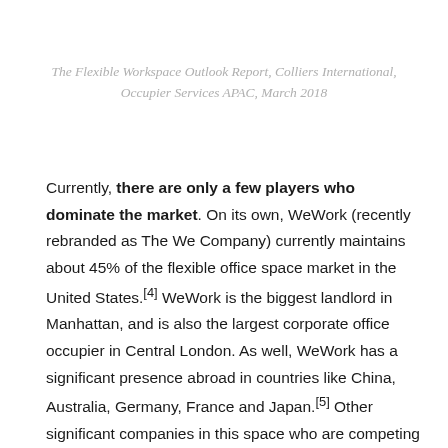The Flexible Workspace Outlook Report, Colliers International, Occupier Services APAC, March 2018
Currently, there are only a few players who dominate the market. On its own, WeWork (recently rebranded as The We Company) currently maintains about 45% of the flexible office space market in the United States.[4] WeWork is the biggest landlord in Manhattan, and is also the largest corporate office occupier in Central London. As well, WeWork has a significant presence abroad in countries like China, Australia, Germany, France and Japan.[5] Other significant companies in this space who are competing with WeWork include the likes of Regus and Knotel or